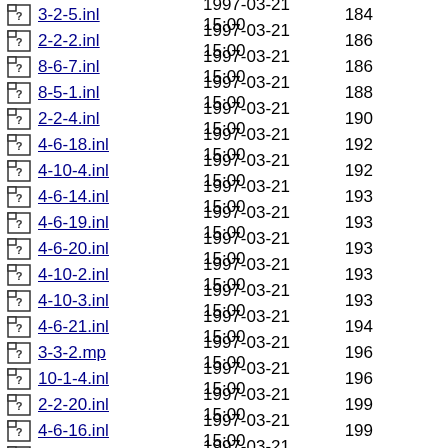3-2-3.inl  1997-03-21 15:00  184
2-2-2.inl  1997-03-21 15:00  186
8-6-7.inl  1997-03-21 15:00  186
8-5-1.inl  1997-03-21 15:00  188
2-2-4.inl  1997-03-21 15:00  190
4-6-18.inl  1997-03-21 15:00  192
4-10-4.inl  1997-03-21 15:00  192
4-6-14.inl  1997-03-21 15:00  193
4-6-19.inl  1997-03-21 15:00  193
4-6-20.inl  1997-03-21 15:00  193
4-10-2.inl  1997-03-21 15:00  193
4-10-3.inl  1997-03-21 15:00  193
4-6-21.inl  1997-03-21 15:00  194
3-3-2.mp  1997-03-21 15:00  196
10-1-4.inl  1997-03-21 15:00  196
2-2-20.inl  1997-03-21 15:00  199
4-6-16.inl  1997-03-21 15:00  199
8-6-3.inl  1997-03-21 15:00  200